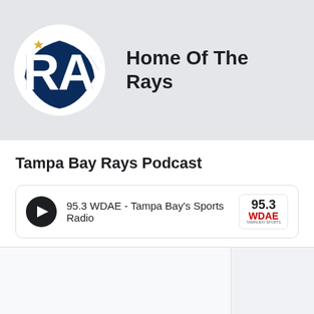[Figure (logo): Tampa Bay Rays baseball team logo — circular white background with navy blue RAYS text and gold star]
Home Of The Rays
Tampa Bay Rays Podcast
[Figure (screenshot): Audio player card: play button, track name '95.3 WDAE - Tampa Bay's Sports Radio', and station logo 95.3 WDAE]
95.3 WDAE - Tampa Bay's Sports Radio